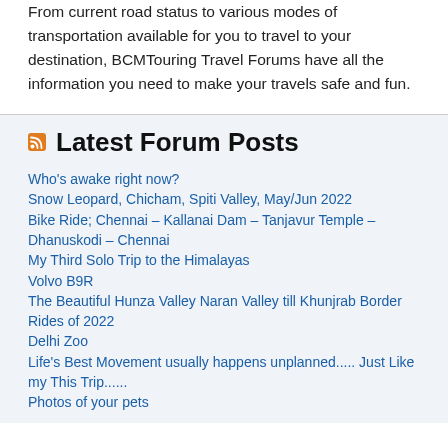From current road status to various modes of transportation available for you to travel to your destination, BCMTouring Travel Forums have all the information you need to make your travels safe and fun.
Latest Forum Posts
Who's awake right now?
Snow Leopard, Chicham, Spiti Valley, May/Jun 2022
Bike Ride; Chennai – Kallanai Dam – Tanjavur Temple – Dhanuskodi – Chennai
My Third Solo Trip to the Himalayas
Volvo B9R
The Beautiful Hunza Valley Naran Valley till Khunjrab Border Rides of 2022
Delhi Zoo
Life's Best Movement usually happens unplanned..... Just Like my This Trip......
Photos of your pets